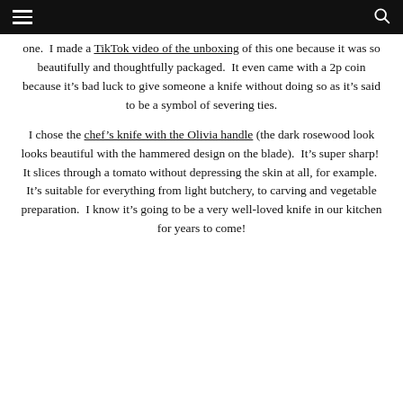[hamburger menu] [search icon]
one. I made a TikTok video of the unboxing of this one because it was so beautifully and thoughtfully packaged. It even came with a 2p coin because it’s bad luck to give someone a knife without doing so as it’s said to be a symbol of severing ties.
I chose the chef’s knife with the Olivia handle (the dark rosewood look looks beautiful with the hammered design on the blade). It’s super sharp! It slices through a tomato without depressing the skin at all, for example. It’s suitable for everything from light butchery, to carving and vegetable preparation. I know it’s going to be a very well-loved knife in our kitchen for years to come!